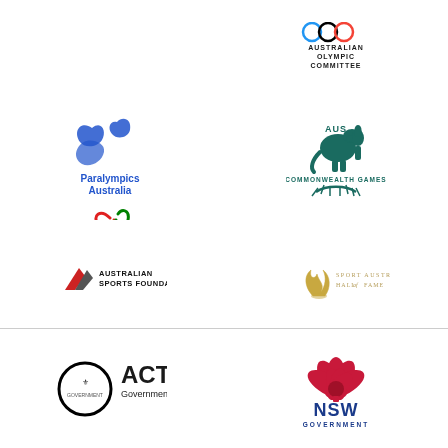[Figure (logo): Australian Olympic Committee logo with Olympic rings and text]
[Figure (logo): Paralympics Australia logo with agito symbol]
[Figure (logo): Commonwealth Games Australia logo with kangaroo and emu]
[Figure (logo): Australian Sports Foundation logo]
[Figure (logo): Sport Australia Hall of Fame logo]
[Figure (logo): ACT Government logo]
[Figure (logo): NSW Government logo with lotus flower]